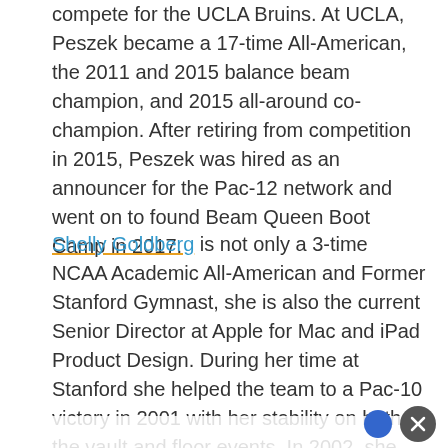compete for the UCLA Bruins. At UCLA, Peszek became a 17-time All-American, the 2011 and 2015 balance beam champion, and 2015 all-around co-champion. After retiring from competition in 2015, Peszek was hired as an announcer for the Pac-12 network and went on to found Beam Queen Boot Camp in 2017.
Shelly Goldberg is not only a 3-time NCAA Academic All-American and Former Stanford Gymnast, she is also the current Senior Director at Apple for Mac and iPad Product Design. During her time at Stanford she helped the team to a Pac-10 victory in 2001 with her stability on both the vault and floor events. In 2002, she was selected to the Pac-10 All-Academic First Team. Goldberg graduated from Stanford in 2005 and has since risen to her current role of Senior Director for Mac and